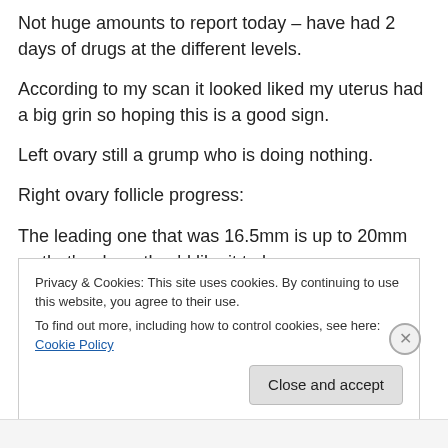Not huge amounts to report today – have had 2 days of drugs at the different levels.
According to my scan it looked liked my uterus had a big grin so hoping this is a good sign.
Left ovary still a grump who is doing nothing.
Right ovary follicle progress:
The leading one that was 16.5mm is up to 20mm so that's where they'd like it to be.
Privacy & Cookies: This site uses cookies. By continuing to use this website, you agree to their use. To find out more, including how to control cookies, see here: Cookie Policy
Close and accept